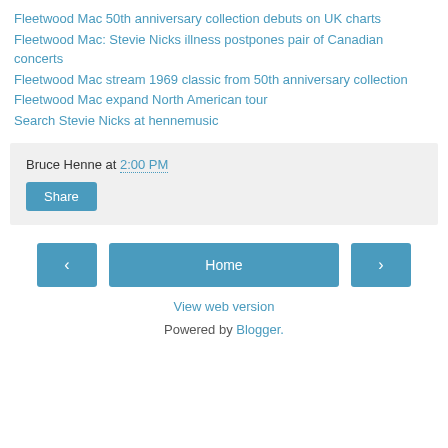Fleetwood Mac 50th anniversary collection debuts on UK charts
Fleetwood Mac: Stevie Nicks illness postpones pair of Canadian concerts
Fleetwood Mac stream 1969 classic from 50th anniversary collection
Fleetwood Mac expand North American tour
Search Stevie Nicks at hennemusic
Bruce Henne at 2:00 PM
Share
Home
View web version
Powered by Blogger.